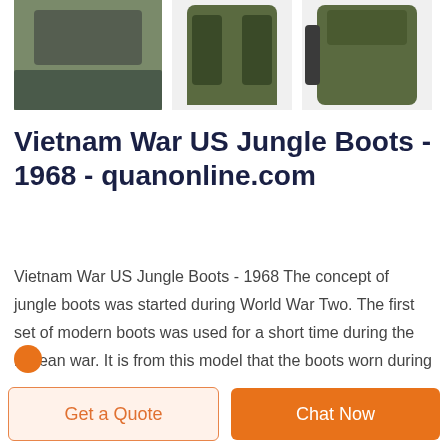[Figure (photo): Three product images: a sleeping bag/mat on grass, a camouflage military jacket, and a camouflage military backpack]
Vietnam War US Jungle Boots - 1968 - quanonline.com
Vietnam War US Jungle Boots - 1968 The concept of jungle boots was started during World War Two. The first set of modern boots was used for a short time during the Korean war. It is from this model that the boots worn during the Vietnam war emerged. The design consists of a ...